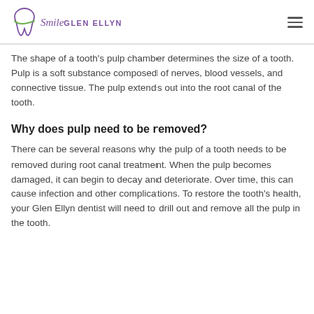Smile Glen Ellyn
The shape of a tooth's pulp chamber determines the size of a tooth. Pulp is a soft substance composed of nerves, blood vessels, and connective tissue. The pulp extends out into the root canal of the tooth.
Why does pulp need to be removed?
There can be several reasons why the pulp of a tooth needs to be removed during root canal treatment. When the pulp becomes damaged, it can begin to decay and deteriorate. Over time, this can cause infection and other complications. To restore the tooth's health, your Glen Ellyn dentist will need to drill out and remove all the pulp in the tooth.